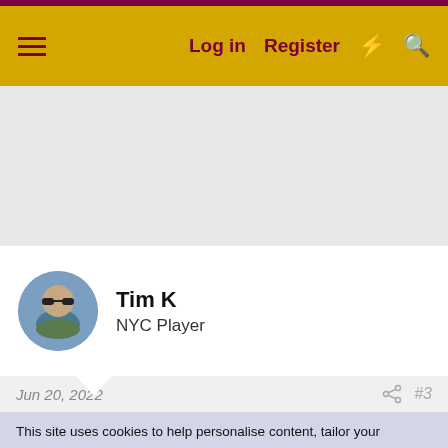Log in  Register
[Figure (photo): User avatar photo of Tim K, person wearing sunglasses outdoors]
Tim K
NYC Player
Jun 20, 2022  #3
This site uses cookies to help personalise content, tailor your experience and to keep you logged in if you register.
By continuing to use this site, you are consenting to our use of cookies.